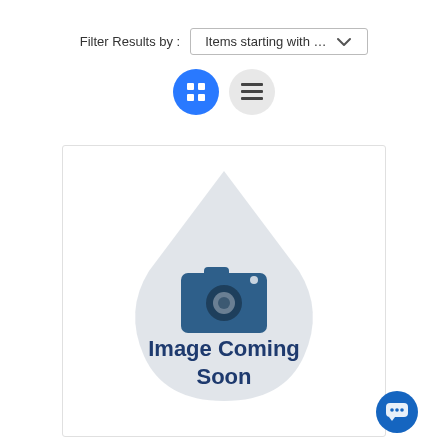Filter Results by :
Items starting with …
[Figure (screenshot): Grid view and list view toggle buttons; grid button is active (blue), list button is inactive (grey)]
[Figure (illustration): Image Coming Soon placeholder with water drop shape containing a camera icon and the text 'Image Coming Soon' in dark blue]